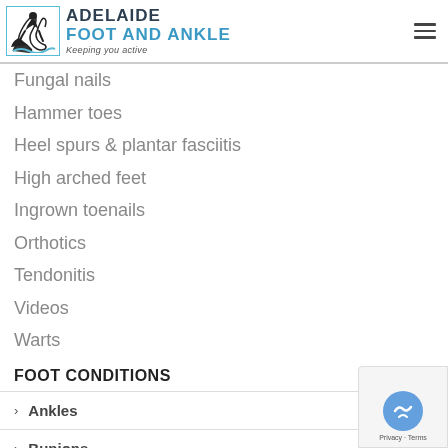Adelaide Foot and Ankle — Keeping you active
Fungal nails
Hammer toes
Heel spurs & plantar fasciitis
High arched feet
Ingrown toenails
Orthotics
Tendonitis
Videos
Warts
FOOT CONDITIONS
Ankles
Bunions